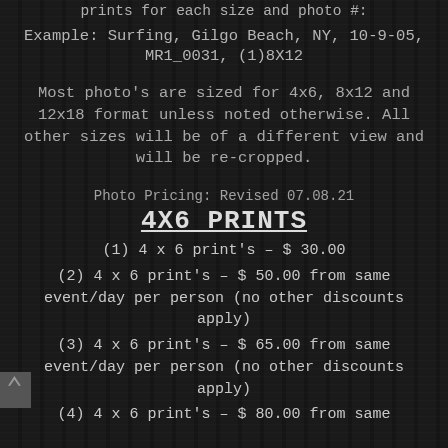prints for each size and photo #:
Example: Surfing, Gilgo Beach, NY, 10-9-05, MR1_0031, (1)8X12
Most photo's are sized for 4x6, 8x12 and 12x18 format unless noted otherwise. All other sizes will be of a different view and will be re-cropped.
Photo Pricing: Revised 07.08.21
4X6 PRINTS
(1) 4 x 6 print's - $ 30.00
(2) 4 x 6 print's - $ 50.00 from same event/day per person (no other discounts apply)
(3) 4 x 6 print's - $ 65.00 from same event/day per person (no other discounts apply)
(4) 4 x 6 print's - $ 80.00 from same